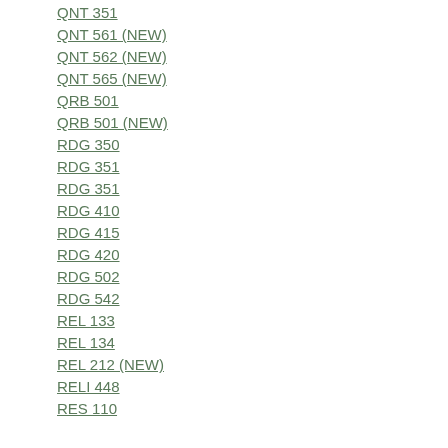QNT 351
QNT 561 (NEW)
QNT 562 (NEW)
QNT 565 (NEW)
QRB 501
QRB 501 (NEW)
RDG 350
RDG 351
RDG 351
RDG 410
RDG 415
RDG 420
RDG 502
RDG 542
REL 133
REL 134
REL 212 (NEW)
RELI 448
RES 110